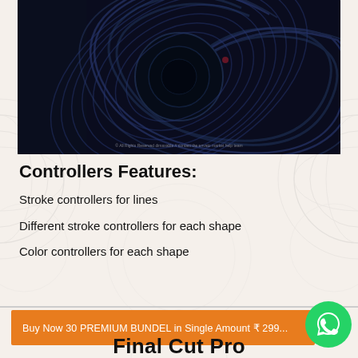[Figure (photo): Dark abstract swirling pattern image with circular wave forms in dark navy/black tones, with a small copyright notice at the bottom reading '© All Rights Reserved dimaxable // contact the envato market help team']
Controllers Features:
Stroke controllers for lines
Different stroke controllers for each shape
Color controllers for each shape
Buy Now 30 PREMIUM BUNDEL in Single Amount ₹ 299...
Final Cut Pro